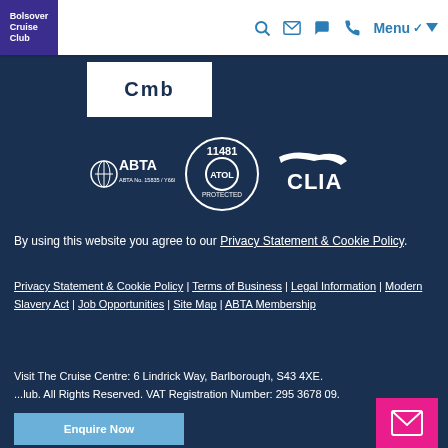Bolsover Cruise Club — Navigation bar with logo and menu icons
[Figure (logo): CMB partial logo — white rectangle with 'Cmb' text]
[Figure (logo): ABTA logo (ABTA No. 15835 / Y6603), ATOL 11481 Protected circular badge, and CLIA logo — certification logos on dark blue background]
By using this website you agree to our Privacy Statement & Cookie Policy.
Privacy Statement & Cookie Policy | Terms of Business | Legal Information | Modern Slavery Act | Job Opportunities | Site Map | ABTA Membership
Visit The Cruise Centre: 6 Lindrick Way, Barlborough, S43 4XE. ...lub. All Rights Reserved. VAT Registration Number: 295 3678 09.